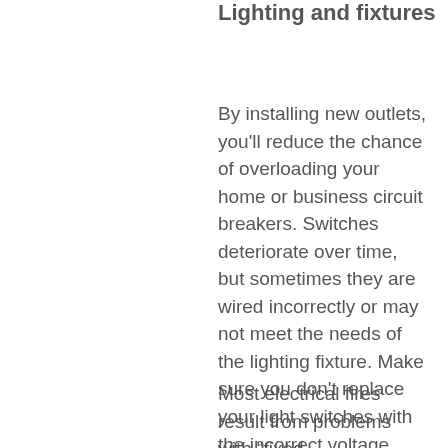Lighting and fixtures
By installing new outlets, you'll reduce the chance of overloading your home or business circuit breakers. Switches deteriorate over time, but sometimes they are wired incorrectly or may not meet the needs of the lighting fixture. Make sure you don't replace your light switches with the incorrect voltage.
Most electrical fires result from problems with "fixed